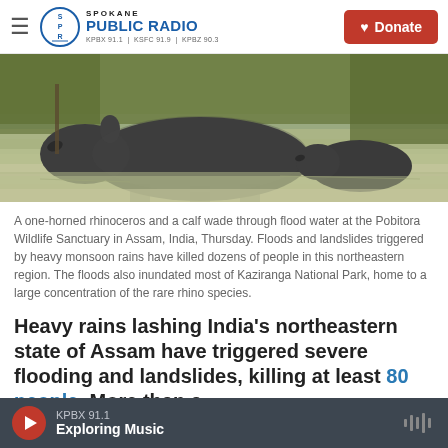Spokane PUBLIC RADIO KPBX 91.1 | KSFC 91.9 | KPBZ 90.3 | Donate
[Figure (photo): Two rhinoceroses (one large, one smaller calf) wading through flood water surrounded by murky greenish-brown water and vegetation in background.]
A one-horned rhinoceros and a calf wade through flood water at the Pobitora Wildlife Sanctuary in Assam, India, Thursday. Floods and landslides triggered by heavy monsoon rains have killed dozens of people in this northeastern region. The floods also inundated most of Kaziranga National Park, home to a large concentration of the rare rhino species.
Heavy rains lashing India's northeastern state of Assam have triggered severe flooding and landslides, killing at least 80 people. More than a
KPBX 91.1 Exploring Music